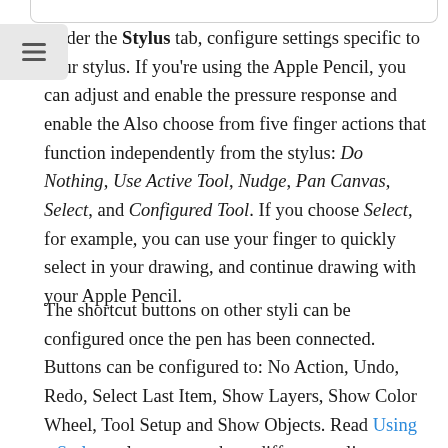Under the Stylus tab, configure settings specific to your stylus. If you're using the Apple Pencil, you can adjust and enable the pressure response and enable the Also choose from five finger actions that function independently from the stylus: Do Nothing, Use Active Tool, Nudge, Pan Canvas, Select, and Configured Tool. If you choose Select, for example, you can use your finger to quickly select in your drawing, and continue drawing with your Apple Pencil.
The shortcut buttons on other styli can be configured once the pen has been connected. Buttons can be configured to: No Action, Undo, Redo, Select Last Item, Show Layers, Show Color Wheel, Tool Setup and Show Objects. Read Using a Stylus to learn more about different styli.